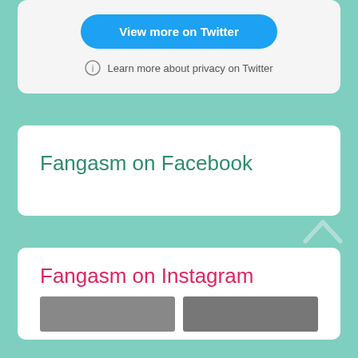[Figure (screenshot): Twitter widget card with 'View more on Twitter' blue button and 'Learn more about privacy on Twitter' info link, on a light gray background]
Fangasm on Facebook
Fangasm on Instagram
[Figure (photo): Two thumbnail image placeholders side by side in the Instagram section]